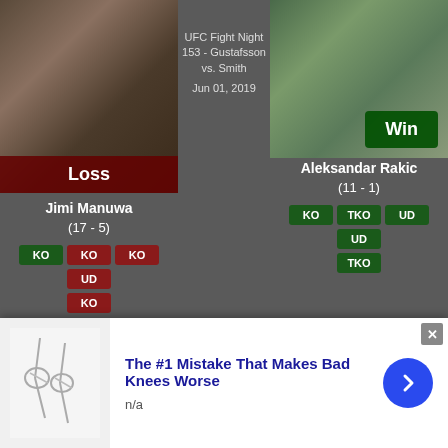[Figure (photo): Jimi Manuwa fighter photo with Loss badge]
UFC Fight Night 153 - Gustafsson vs. Smith
Jun 01, 2019
[Figure (photo): Aleksandar Rakic fighter photo with Win badge]
Jimi Manuwa
(17 - 5)
KO KO KO UD
KO
Aleksandar Rakic
(11 - 1)
KO TKO UD UD
TKO
[Figure (photo): Bottom left fighter photo with infolinks badge]
vs
KO (Punches)
[Figure (photo): Bottom right fighter photo]
The #1 Mistake That Makes Bad Knees Worse
n/a